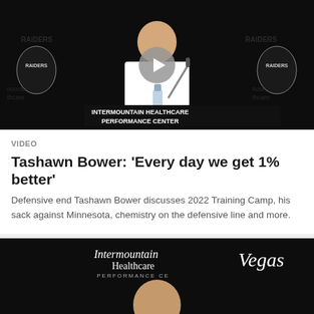[Figure (screenshot): Video thumbnail showing Tashawn Bower at a press conference podium in front of Raiders and Intermountain Healthcare Performance Center branding. A play button overlay is visible in the center.]
VIDEO
Tashawn Bower: 'Every day we get 1% better'
Defensive end Tashawn Bower discusses 2022 Training Camp, his sack against Minnesota, chemistry on the defensive line and more.
[Figure (screenshot): Video thumbnail showing a bald man with a goatee at a press conference in front of Raiders and Intermountain Healthcare branding.]